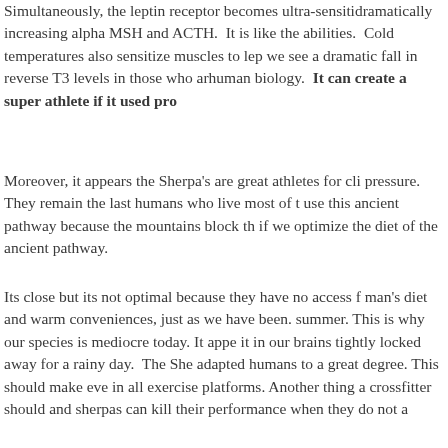Simultaneously, the leptin receptor becomes ultra-sensitive dramatically increasing alpha MSH and ACTH. It is like the abilities. Cold temperatures also sensitize muscles to lep we see a dramatic fall in reverse T3 levels in those who are human biology. It can create a super athlete if it used pro
Moreover, it appears the Sherpa's are great athletes for cli pressure. They remain the last humans who live most of t use this ancient pathway because the mountains block th if we optimize the diet of the ancient pathway.
Its close but its not optimal because they have no access f man's diet and warm conveniences, just as we have been. summer. This is why our species is mediocre today. It appe it in our brains tightly locked away for a rainy day. The She adapted humans to a great degree. This should make eve in all exercise platforms. Another thing a crossfitter shoul and sherpas can kill their performance when they do not a